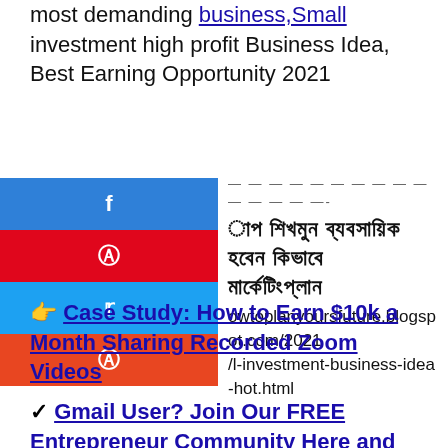most demanding business,Small investment high profit Business Idea, Best Earning Opportunity 2021
[Figure (infographic): Social share buttons: Facebook (blue), Pinterest (red), Twitter (light blue), Reddit (orange-red), with encoded/blurred Bengali text and a blog URL: howtoplanyoursfuture.blogspot.com/2021 ...l-investment-business-idea-hot.html]
👉 Case Study: How to Earn $10k a Month Sharing Recorded Zoom Videos
✔ Gmail User? Join Our FREE Entrepreneur Community Here and Learn How to Increase Sales Volume Instantly by 60%